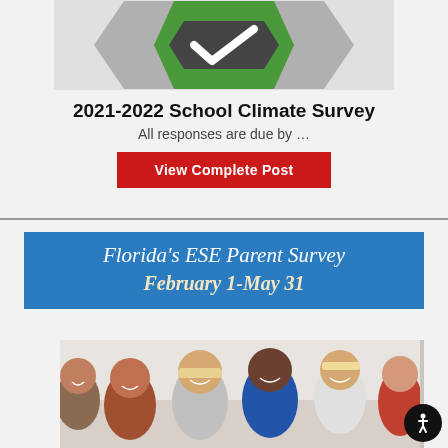[Figure (logo): School climate survey logo with green checkmark and dark arrow on light gray background]
2021-2022 School Climate Survey
All responses are due by …
View Complete Post
[Figure (infographic): Florida's ESE Parent Survey banner in blue with text: Florida's ESE Parent Survey, February 1-May 31, and a photo of smiling children]
[Figure (photo): Group of smiling middle school children]